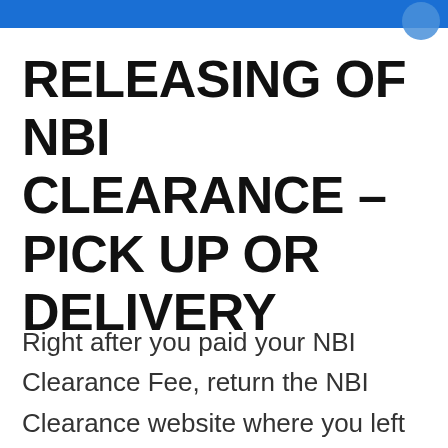RELEASING OF NBI CLEARANCE – PICK UP OR DELIVERY
Right after you paid your NBI Clearance Fee, return the NBI Clearance website where you left it.